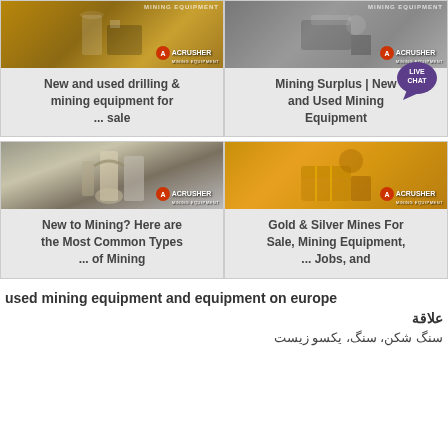[Figure (photo): Mining equipment image - top left card showing industrial mining equipment with ACRUSHER MINING EQUIPMENT watermark]
New and used drilling & mining equipment for ... sale
[Figure (photo): Mining equipment image - top right card showing industrial equipment with ACRUSHER MINING EQUIPMENT watermark and LIVE CHAT badge]
Mining Surplus | New and Used Mining Equipment
[Figure (photo): Mining mill equipment - bottom left card showing vertical mill/grinder with ACRUSHER MINING EQUIPMENT watermark]
New to Mining? Here are the Most Common Types ... of Mining
[Figure (photo): Yellow mining crusher - bottom right card showing yellow jaw crusher with ACRUSHER MINING EQUIPMENT watermark]
Gold & Silver Mines For Sale, Mining Equipment, ... Jobs, and
used mining equipment and equipment on europe
علاقة
سنگ شکن، سنگ، یکسو زیست